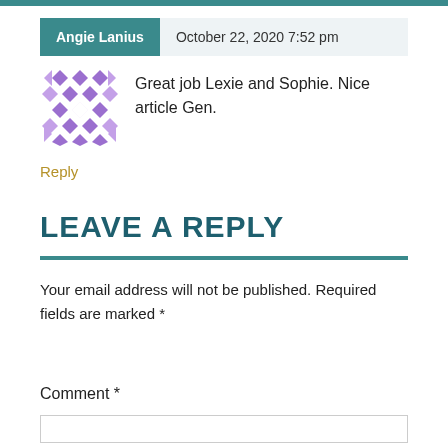Angie Lanius — October 22, 2020 7:52 pm
[Figure (illustration): Purple decorative avatar icon with geometric diamond/triangle pattern]
Great job Lexie and Sophie. Nice article Gen.
Reply
LEAVE A REPLY
Your email address will not be published. Required fields are marked *
Comment *